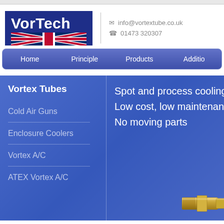[Figure (logo): VorTech logo with Union Jack flag on dark blue background]
info@vortextube.co.uk
01473 320307
[Figure (screenshot): Navigation bar with items: Home, Principle, Products, Additio...]
Vortex Tubes
Cold Air Guns
Enclosure Coolers
Vortex A/C
ATEX Vortex A/C
Spot and process cooling
Low cost, low maintenance
No moving parts
[Figure (photo): Metal vortex tube component, gold/brass colored cylindrical fitting]